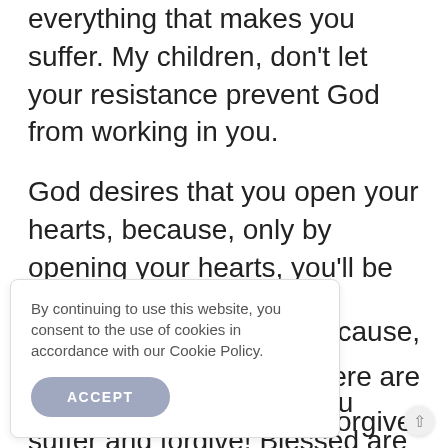everything that makes you suffer. My children, don't let your resistance prevent God from working in you.
God desires that you open your hearts, because, only by opening your hearts, you'll be true Apostles and true witnesses of the faith.
Love those who make you suffer and forgive! Blessed are you, little children, if you learn to
cause, here are orgive. ou don't donate love
By continuing to use this website, you consent to the use of cookies in accordance with our Cookie Policy.